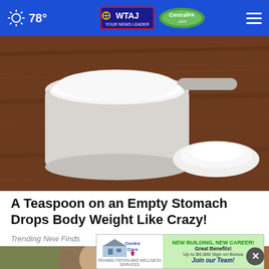78° WTAJ CentralPA.com
[Figure (photo): A measuring cup filled with white powder (sugar or flour) on a wooden surface, with a small pile of powder spilled beside it]
A Teaspoon on an Empty Stomach Drops Body Weight Like Crazy!
Trending New Finds
[Figure (photo): Two people (a woman and a man) photographed indoors]
[Figure (other): CentreCare advertisement: NEW BUILDING, NEW CAREER! Great Benefits! Up to $4,000 Sign on Bonus - Join our Team!]